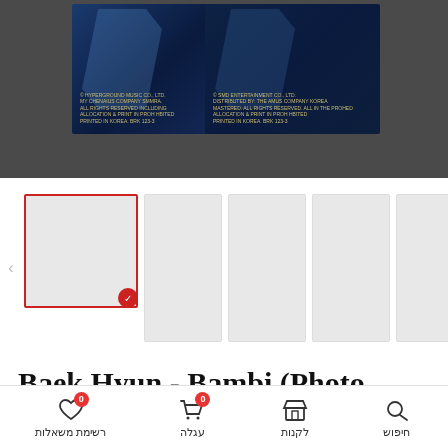[Figure (screenshot): E-commerce product page showing Baek Hyun Bambi Photo Book Ver. with product images and navigation bar]
Baek Hyun - Bambi (Photo Book Ver.)
רשימת משאלות | עגלה | לקנות | חיפוש (bottom navigation bar in Hebrew)